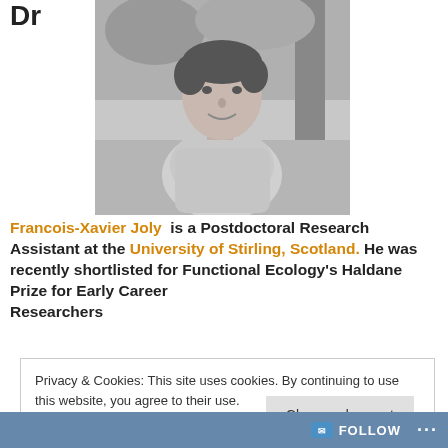Dr
[Figure (photo): Black and white portrait photo of Francois-Xavier Joly, a young man smiling outdoors with trees in background]
Francois-Xavier Joly is a Postdoctoral Research Assistant at the University of Stirling, Scotland. He was recently shortlisted for Functional Ecology's Haldane Prize for Early Career Researchers
Privacy & Cookies: This site uses cookies. By continuing to use this website, you agree to their use.
To find out more, including how to control cookies, see here: Cookie Policy
Close and accept
FOLLOW ...